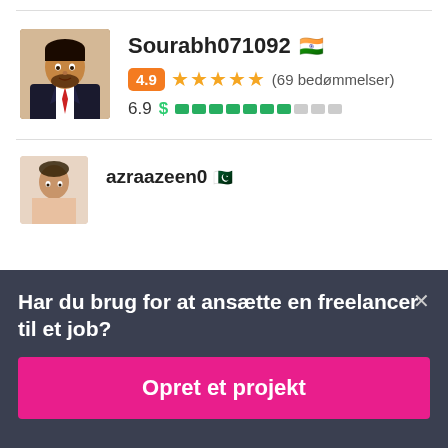[Figure (screenshot): Freelancer profile card for Sourabh071092 with Indian flag, 4.9 rating badge, 5 orange stars, (69 bedømmelser), score 6.9 and green progress bar segments]
[Figure (screenshot): Partial second freelancer profile card showing avatar and partial username azraazeen0 with flag]
Har du brug for at ansætte en freelancer til et job?
Opret et projekt